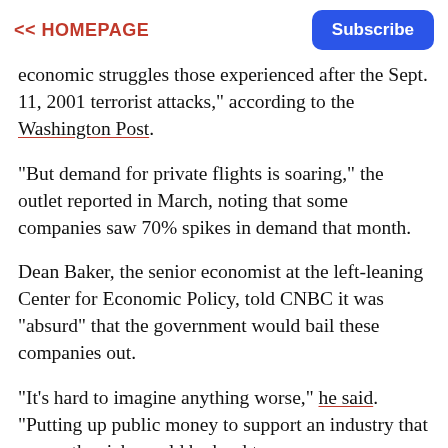<< HOMEPAGE  Subscribe
economic struggles those experienced after the Sept. 11, 2001 terrorist attacks," according to the Washington Post.
"But demand for private flights is soaring," the outlet reported in March, noting that some companies saw 70% spikes in demand that month.
Dean Baker, the senior economist at the left-leaning Center for Economic Policy, told CNBC it was "absurd" that the government would bail these companies out.
"It's hard to imagine anything worse," he said. "Putting up public money to support an industry that serves the rich would be hard to